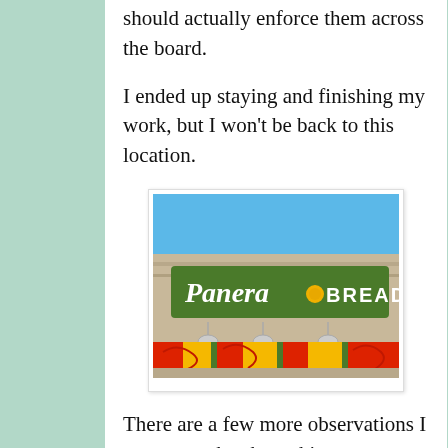should actually enforce them across the board.
I ended up staying and finishing my work, but I won't be back to this location.
[Figure (photo): Exterior photo of a Panera Bread restaurant storefront showing the green and yellow Panera Bread sign, pendant lights, and colorful red and yellow striped awning with red umbrella tables below.]
There are a few more observations I want to make about this encounter:
1) The Bread Co I normally frequent also has a pretty visible homeless presence. I'm frequently solicited for change as I enter and leave the premises, and there have been many times where I've seen people who appear homeless come in and use the restroom, or sit in